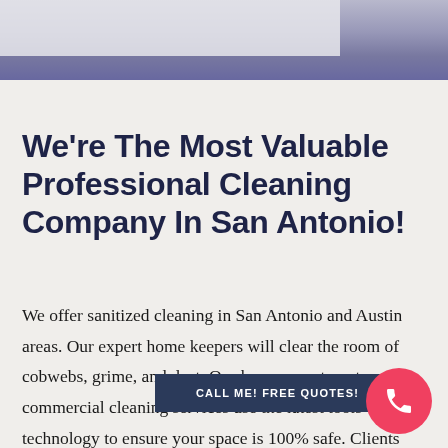[Figure (photo): Hero banner image with blurred purple/blue-grey background, partially covered by a light overlay on the left side.]
We're The Most Valuable Professional Cleaning Company In San Antonio!
We offer sanitized cleaning in San Antonio and Austin areas. Our expert home keepers will clear the room of cobwebs, grime, and dust. Our house, apartment commercial cleaning services use the latest tools technology to ensure your space is 100% safe. Clients